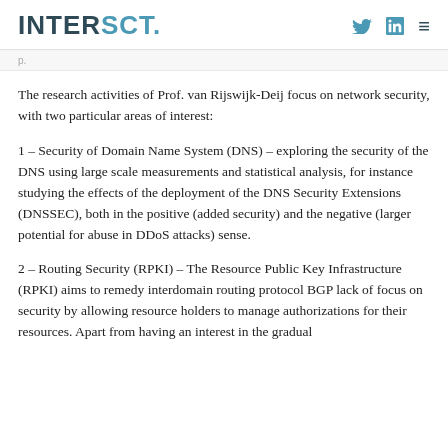INTERSCT.
The research activities of Prof. van Rijswijk-Deij focus on network security, with two particular areas of interest:
1 – Security of Domain Name System (DNS) – exploring the security of the DNS using large scale measurements and statistical analysis, for instance studying the effects of the deployment of the DNS Security Extensions (DNSSEC), both in the positive (added security) and the negative (larger potential for abuse in DDoS attacks) sense.
2 – Routing Security (RPKI) – The Resource Public Key Infrastructure (RPKI) aims to remedy interdomain routing protocol BGP lack of focus on security by allowing resource holders to manage authorizations for their resources. Apart from having an interest in the gradual